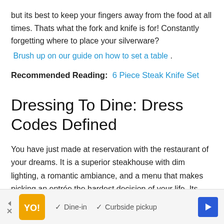but its best to keep your fingers away from the food at all times. Thats what the fork and knife is for! Constantly forgetting where to place your silverware?
Brush up on our guide on how to set a table .
Recommended Reading:  6 Piece Steak Knife Set
Dressing To Dine: Dress Codes Defined
You have just made at reservation with the restaurant of your dreams. It is a superior steakhouse with dim lighting, a romantic ambiance, and a menu that makes picking an entrée the hardest decision of your life. Its going to be a gala
[Figure (infographic): Advertisement bar with orange logo, checkmarks for Dine-in and Curbside pickup, and a blue navigation arrow button]